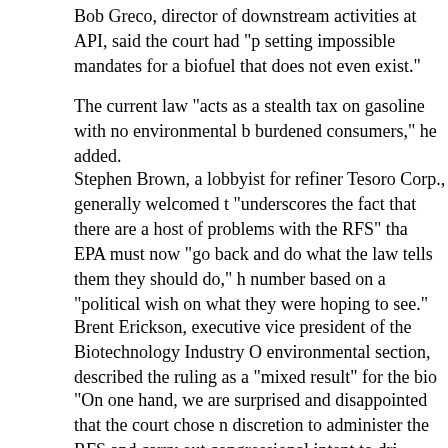Bob Greco, director of downstream activities at API, said the court had "p setting impossible mandates for a biofuel that does not even exist."
The current law "acts as a stealth tax on gasoline with no environmental b burdened consumers," he added.
Stephen Brown, a lobbyist for refiner Tesoro Corp., generally welcomed t "underscores the fact that there are a host of problems with the RFS" tha
EPA must now "go back and do what the law tells them they should do," h number based on a "political wish on what they were hoping to see."
Brent Erickson, executive vice president of the Biotechnology Industry O environmental section, described the ruling as a "mixed result" for the bio
"On one hand, we are surprised and disappointed that the court chose n discretion to administer the RFS and carry out congressional intent to dri cellulosic required volume obligations," he said.
But, he added, "we are encouraged that the court did defer to the agency in upholding that portion of the 2012 rule."